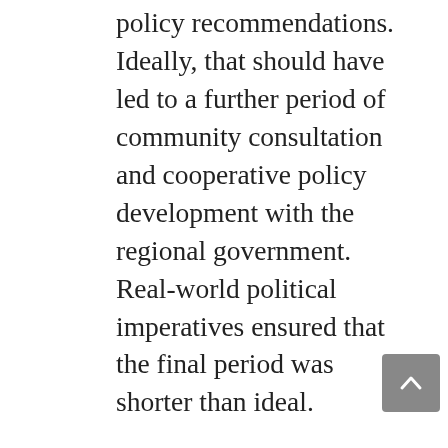policy recommendations. Ideally, that should have led to a further period of community consultation and cooperative policy development with the regional government. Real-world political imperatives ensured that the final period was shorter than ideal.
Notoriously, there has been a gap, sometimes a canyon, between academic ‘decision aiders’ and real-world ‘decision makers’. I see in the approach Melissa has briefly described promise of both narrowing the gap and simultaneously combining science in action with land and water management.